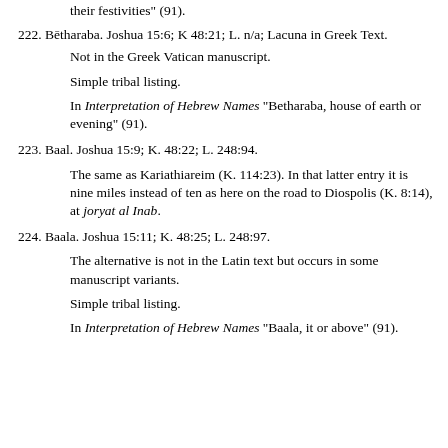their festivities" (91).
222. Bētharaba. Joshua 15:6; K 48:21; L. n/a; Lacuna in Greek Text.
Not in the Greek Vatican manuscript.
Simple tribal listing.
In Interpretation of Hebrew Names "Betharaba, house of earth or evening" (91).
223. Baal. Joshua 15:9; K. 48:22; L. 248:94.
The same as Kariathiareim (K. 114:23). In that latter entry it is nine miles instead of ten as here on the road to Diospolis (K. 8:14), at joryat al Inab.
224. Baala. Joshua 15:11; K. 48:25; L. 248:97.
The alternative is not in the Latin text but occurs in some manuscript variants.
Simple tribal listing.
In Interpretation of Hebrew Names "Baala, it or above" (91).